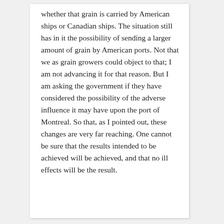whether that grain is carried by American ships or Canadian ships. The situation still has in it the possibility of sending a larger amount of grain by American ports. Not that we as grain growers could object to that; I am not advancing it for that reason. But I am asking the government if they have considered the possibility of the adverse influence it may have upon the port of Montreal. So that, as I pointed out, these changes are very far reaching. One cannot be sure that the results intended to be achieved will be achieved, and that no ill effects will be the result.